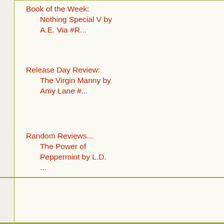Book of the Week: Nothing Special V by A.E. Via #R...
Release Day Review: The Virgin Manny by Amy Lane #...
Random Reviews... The Power of Peppermint by L.D. ...
► 2016 (834)
► 2015 (339)
► 2014 (177)